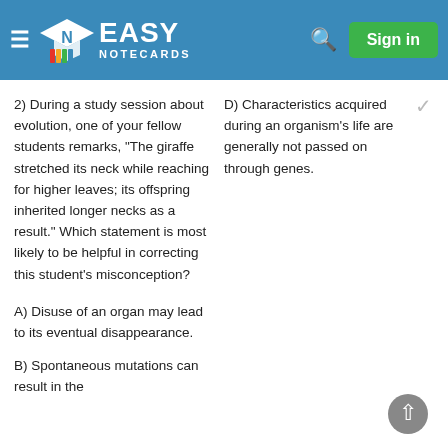Easy Notecards — Sign in
2) During a study session about evolution, one of your fellow students remarks, "The giraffe stretched its neck while reaching for higher leaves; its offspring inherited longer necks as a result." Which statement is most likely to be helpful in correcting this student's misconception?
A) Disuse of an organ may lead to its eventual disappearance.
B) Spontaneous mutations can result in the
D) Characteristics acquired during an organism's life are generally not passed on through genes.